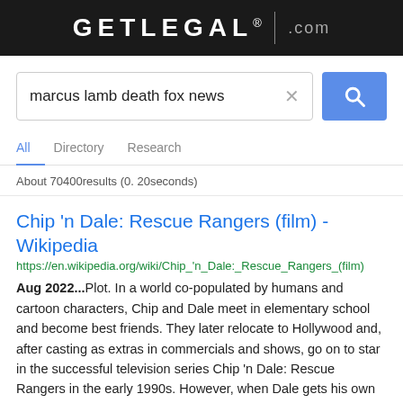[Figure (logo): GETLEGAL.com logo on black background header bar]
[Figure (screenshot): Search box with query 'marcus lamb death fox news' and X clear button, and blue search button with magnifying glass icon]
All   Directory   Research
About 70400results (0. 20seconds)
Chip 'n Dale: Rescue Rangers (film) - Wikipedia
https://en.wikipedia.org/wiki/Chip_'n_Dale:_Rescue_Rangers_(film)
Aug 2022...Plot. In a world co-populated by humans and cartoon characters, Chip and Dale meet in elementary school and become best friends. They later relocate to Hollywood and, after casting as extras in commercials and shows, go on to star in the successful television series Chip 'n Dale: Rescue Rangers in the early 1990s. However, when Dale gets his own show, Double-O-Dale, the two have a falling-out ...